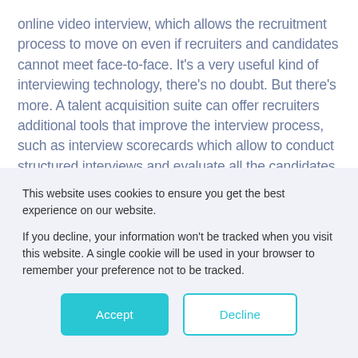online video interview, which allows the recruitment process to move on even if recruiters and candidates cannot meet face-to-face. It's a very useful kind of interviewing technology, there's no doubt. But there's more. A talent acquisition suite can offer recruiters additional tools that improve the interview process, such as interview scorecards which allow to conduct structured interviews and evaluate all the candidates with the exact same criteria, and one-way video interviews which give recruiters a chance to see the candidates before meeting them and assess basic skills and company fit, making it a
This website uses cookies to ensure you get the best experience on our website.

If you decline, your information won't be tracked when you visit this website. A single cookie will be used in your browser to remember your preference not to be tracked.
Accept
Decline